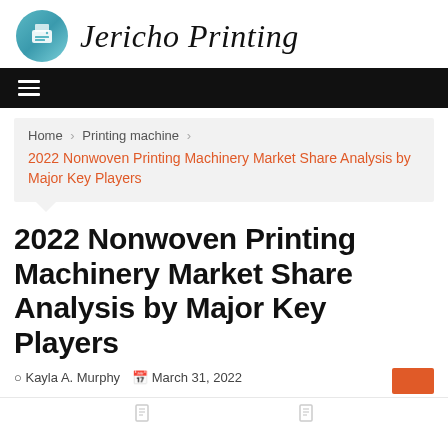Jericho Printing
[Figure (logo): Jericho Printing logo with printer icon in teal circle and italic serif site name]
Home > Printing machine > 2022 Nonwoven Printing Machinery Market Share Analysis by Major Key Players
2022 Nonwoven Printing Machinery Market Share Analysis by Major Key Players
Kayla A. Murphy   March 31, 2022